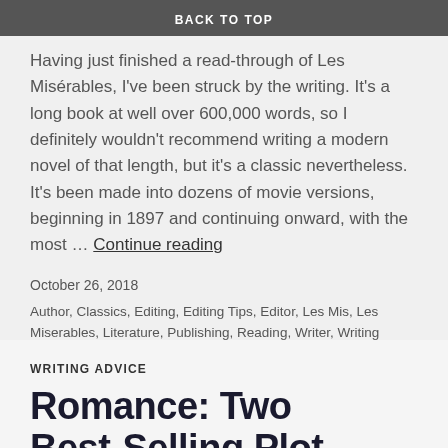BACK TO TOP
Having just finished a read-through of Les Misérables, I've been struck by the writing. It's a long book at well over 600,000 words, so I definitely wouldn't recommend writing a modern novel of that length, but it's a classic nevertheless. It's been made into dozens of movie versions, beginning in 1897 and continuing onward, with the most … Continue reading
October 26, 2018
Author, Classics, Editing, Editing Tips, Editor, Les Mis, Les Miserables, Literature, Publishing, Reading, Writer, Writing Advice, Writing Tips
4 Comments
WRITING ADVICE
Romance: Two Best-Selling Plot